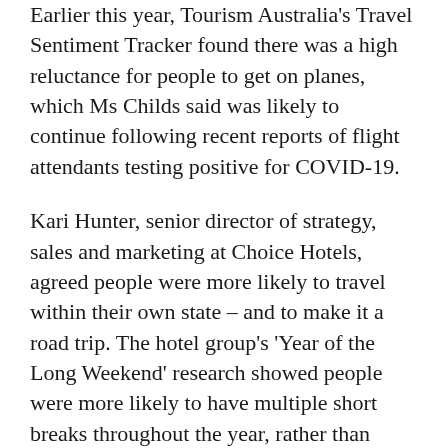Earlier this year, Tourism Australia's Travel Sentiment Tracker found there was a high reluctance for people to get on planes, which Ms Childs said was likely to continue following recent reports of flight attendants testing positive for COVID-19.
Kari Hunter, senior director of strategy, sales and marketing at Choice Hotels, agreed people were more likely to travel within their own state – and to make it a road trip. The hotel group's 'Year of the Long Weekend' research showed people were more likely to have multiple short breaks throughout the year, rather than using a week or two of leave on an overseas holiday.
“We’re certainly seeing that people are travelling to destinations within driving distance, whether that’s regional destinations for those in capital cities or city breaks for those who live regionally” she said.